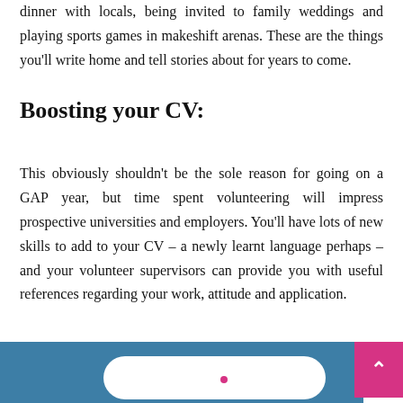dinner with locals, being invited to family weddings and playing sports games in makeshift arenas. These are the things you'll write home and tell stories about for years to come.
Boosting your CV:
This obviously shouldn't be the sole reason for going on a GAP year, but time spent volunteering will impress prospective universities and employers. You'll have lots of new skills to add to your CV – a newly learnt language perhaps – and your volunteer supervisors can provide you with useful references regarding your work, attitude and application.
[Figure (other): Blue banner at the bottom of the page with a white rounded rectangle and a pink circular dot, and a pink button with an upward arrow on the right side.]